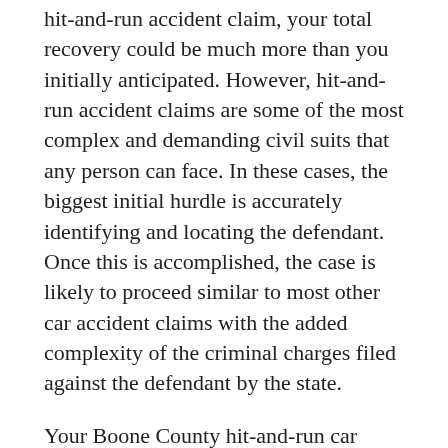hit-and-run accident claim, your total recovery could be much more than you initially anticipated. However, hit-and-run accident claims are some of the most complex and demanding civil suits that any person can face. In these cases, the biggest initial hurdle is accurately identifying and locating the defendant. Once this is accomplished, the case is likely to proceed similar to most other car accident claims with the added complexity of the criminal charges filed against the defendant by the state.
Your Boone County hit-and-run car accident attorney can be a tremendous asset through every phase of your case, from locating the defendant to filing your insurance claim and compiling a personal injury case against them. If the defendant is found and accepts liability for the accident, they may attempt to settle your civil suit as quickly as possible outside of court. Your Boone County hit-and-run accident lawyer can help ensure that your recovery reflects the extent of the damages you suffered.